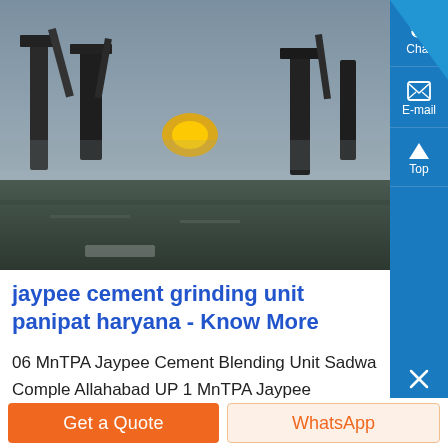[Figure (photo): Industrial/construction site photo showing heavy machinery and workers, dark and blurry, taken outdoors]
jaypee cement grinding unit panipat haryana - Know More
06 MnTPA Jaypee Cement Blending Unit Sadwa Complx Allahabad UP 1 MnTPA Jaypee Ayodhya Grinding Operation JAAGO Tanda UP 10 MnTPA Jaypee Cement Grinding Unit Sikandrabad Uttar Pradesh 12 MnTPA Jaypee Roorkee Cement Grinding Unit Roorkee Uttarakha... 15 MnTPA Jaypee Cement Grinding Unit Panipat Harya...